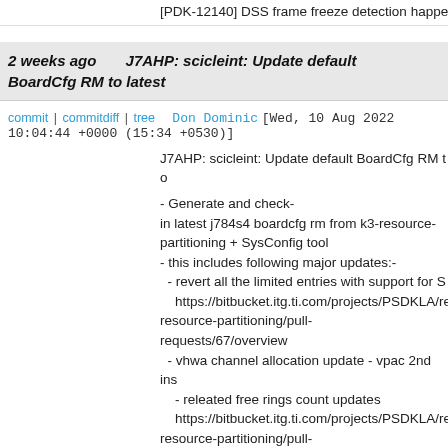[PDK-12140] DSS frame freeze detection happens onl
2 weeks ago   J7AHP: scicleint: Update default BoardCfg RM to latest
commit | commitdiff | tree   Don Dominic [Wed, 10 Aug 2022 10:04:44 +0000 (15:34 +0530)]
J7AHP: scicleint: Update default BoardCfg RM to

- Generate and check-in latest j784s4 boardcfg rm from k3-resource-partitioning + SysConfig tool
- this includes following major updates:-
  - revert all the limited entries with support for S
    https://bitbucket.itg.ti.com/projects/PSDKLA/re resource-partitioning/pull-requests/67/overview
  - vhwa channel allocation update - vpac 2nd ins
    - releated free rings count updates
    https://bitbucket.itg.ti.com/projects/PSDKLA/re resource-partitioning/pull-requests/68/overview

- Also rebuild scicleint, boardcfg, sciclient, ccs, in